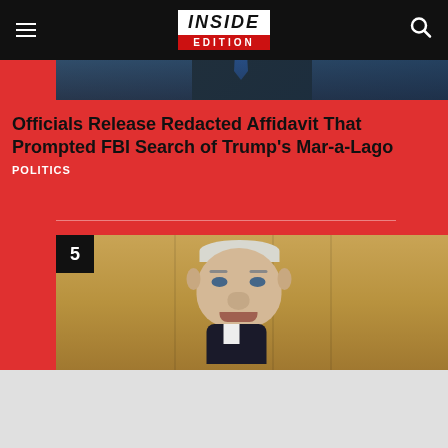Inside Edition
[Figure (photo): Photo of a man in a dark suit with a blue striped tie, appearing to be at an official event, blue background]
Officials Release Redacted Affidavit That Prompted FBI Search of Trump's Mar-a-Lago
POLITICS
[Figure (photo): Close-up photo of an older man with white/gray hair against a golden/warm background, number 5 badge in upper left corner]